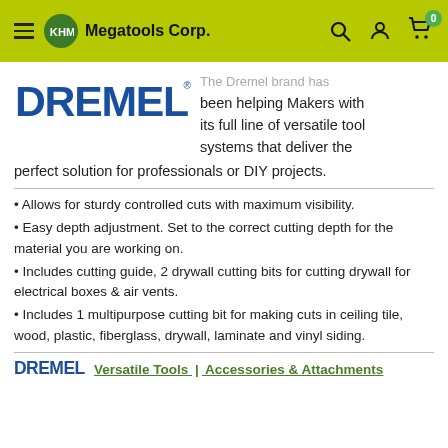KHM Megatools Corp.
[Figure (logo): Dremel logo in blue bold text with registered trademark symbol]
The Dremel brand has been helping Makers with its full line of versatile tool systems that deliver the perfect solution for professionals or DIY projects.
Allows for sturdy controlled cuts with maximum visibility.
Easy depth adjustment. Set to the correct cutting depth for the material you are working on.
Includes cutting guide, 2 drywall cutting bits for cutting drywall for electrical boxes & air vents.
Includes 1 multipurpose cutting bit for making cuts in ceiling tile, wood, plastic, fiberglass, drywall, laminate and vinyl siding.
[Figure (logo): Small Dremel logo]
Versatile Tools | Accessories & Attachments